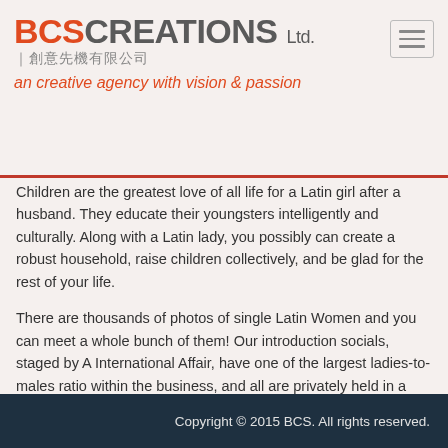BCS CREATIONS Ltd. | 創意先機有限公司 | an creative agency with vision & passion
Children are the greatest love of all life for a Latin girl after a husband. They educate their youngsters intelligently and culturally. Along with a Latin lady, you possibly can create a robust household, raise children collectively, and be glad for the rest of your life.
There are thousands of photos of single Latin Women and you can meet a whole bunch of them! Our introduction socials, staged by A International Affair, have one of the largest ladies-to-males ratio within the business, and all are privately held in a snug setting.
You must be logged in to post a comment.
Copyright © 2015 BCS. All rights reserved.